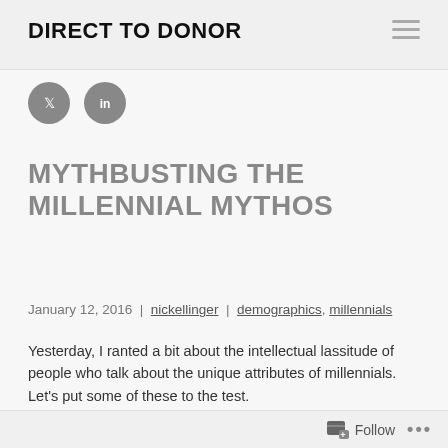DIRECT TO DONOR
[Figure (illustration): Twitter and LinkedIn social media icon buttons (grey circles with white bird and 'in' logos)]
MYTHBUSTING THE MILLENNIAL MYTHOS
January 12, 2016  |  nickellinger  |  demographics, millennials
Yesterday, I ranted a bit about the intellectual lassitude of people who talk about the unique attributes of millennials.  Let's put some of these to the test.
First, a background on where the idea of generations comes
Follow  •••